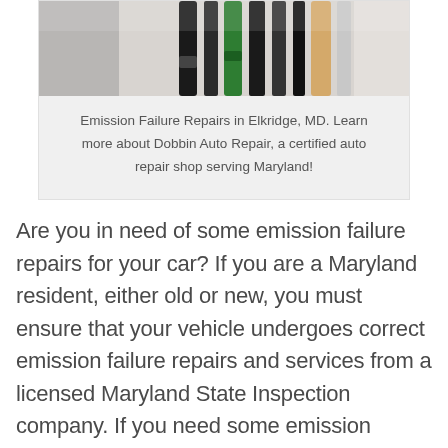[Figure (photo): Photo of gas pump nozzles, partially cropped at top]
Emission Failure Repairs in Elkridge, MD. Learn more about Dobbin Auto Repair, a certified auto repair shop serving Maryland!
Are you in need of some emission failure repairs for your car? If you are a Maryland resident, either old or new, you must ensure that your vehicle undergoes correct emission failure repairs and services from a licensed Maryland State Inspection company. If you need some emission failure repairs or services completed in Elkridge, MD, come by Dobbin Auto Repair! We take plenty of pride